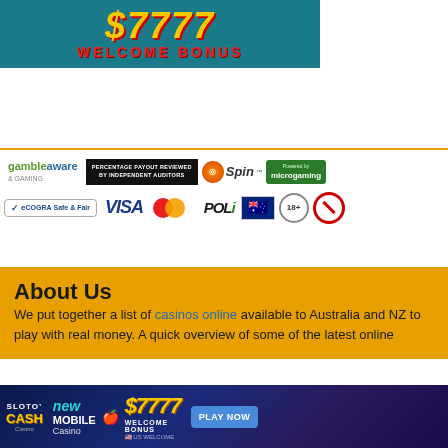[Figure (illustration): Casino welcome bonus banner with teal/dark background showing $7777 in large yellow italic text and WELCOME BONUS in red bold text]
[Figure (illustration): Trust and payment badge strip: gambleaware & gaming, percentage payout reviewed by independent auditors, Spin powered by microgaming, Powered by microgaming, eCOGRA Safe & Fair, VISA, MasterCard, POLi, Australian flag, 18+, no smoking circle]
About Us
We put together a list of casinos online available to Australia and NZ to play with real money. A quick overview of some of the latest online
[Figure (illustration): Sloto Cash Casino bottom banner ad: new mobile casino, $7777 welcome bonus, US welcome, PLAY NOW button, dark blue background with casino graphics]